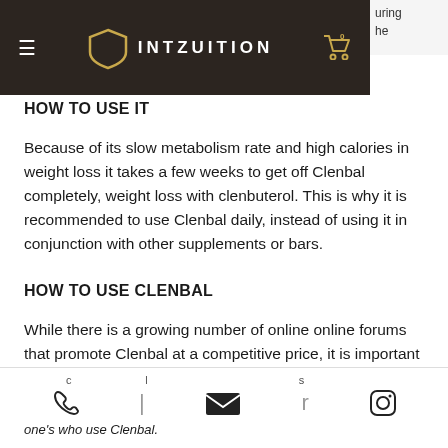[Figure (logo): INTZUITION website header with dark brown/black background, hamburger menu icon on left, shield logo with 'INTZUITION' text in center, shopping cart icon on right]
HOW TO USE IT
Because of its slow metabolism rate and high calories in weight loss it takes a few weeks to get off Clenbal completely, weight loss with clenbuterol. This is why it is recommended to use Clenbal daily, instead of using it in conjunction with other supplements or bars.
HOW TO USE CLENBAL
While there is a growing number of online online forums that promote Clenbal at a competitive price, it is important to note that
one's who use Clenbal.